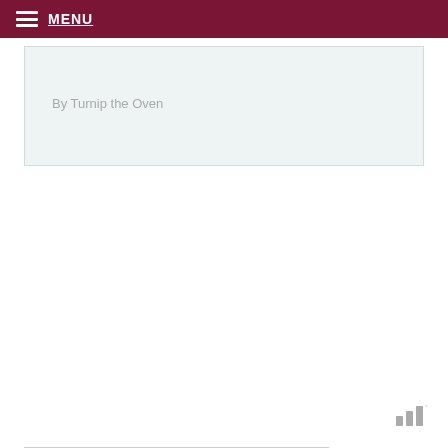MENU
By Turnip the Oven
[Figure (logo): Small grey bar-chart style logo with superscript dot, resembling a watermark icon]